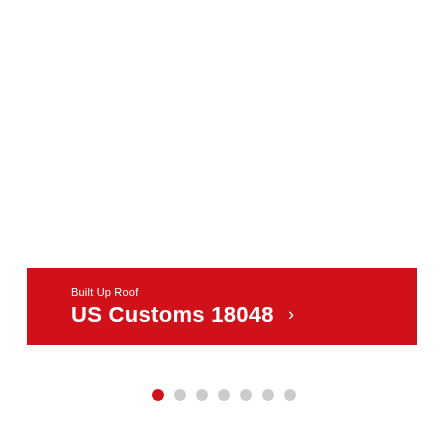[Figure (screenshot): A UI card/banner element with a red background showing a Built Up Roof product entry labeled 'US Customs 18048' with a right-arrow chevron, plus carousel navigation dots below (7 dots, first one active/red).]